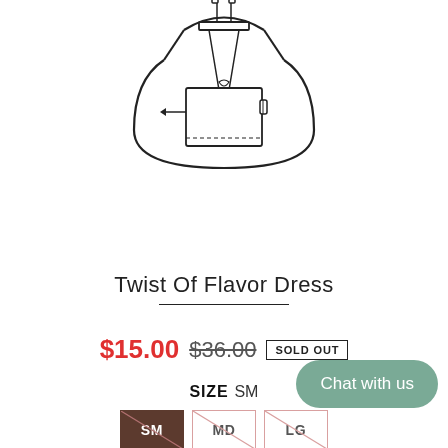[Figure (illustration): Line drawing illustration of a dress shown from the back, with drawstring/bow detail at the top and a rectangular pocket or panel section in the middle]
Twist Of Flavor Dress
$15.00  $36.00  SOLD OUT
SIZE  SM
SM  MD  LG
Chat with us